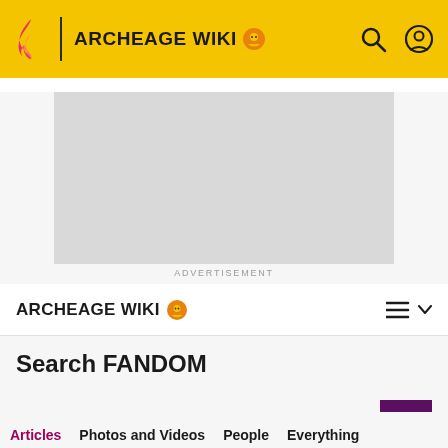ARCHEAGE WIKI
[Figure (screenshot): Advertisement placeholder gray box]
ADVERTISEMENT
ARCHEAGE WIKI
Search FANDOM
ADVANCED
Articles  Photos and Videos  People  Everything